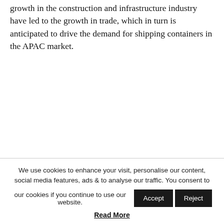growth in the construction and infrastructure industry have led to the growth in trade, which in turn is anticipated to drive the demand for shipping containers in the APAC market.
We use cookies to enhance your visit, personalise our content, social media features, ads & to analyse our traffic. You consent to our cookies if you continue to use our website. [Accept] [Reject] Read More